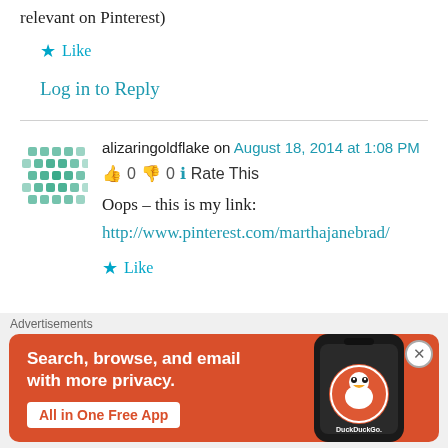relevant on Pinterest)
★ Like
Log in to Reply
alizaringoldflake on August 18, 2014 at 1:08 PM
👍 0 👎 0 ℹ Rate This
Oops – this is my link:
http://www.pinterest.com/marthajanebrad/
★ Like
[Figure (screenshot): DuckDuckGo advertisement banner: orange background with 'Search, browse, and email with more privacy. All in One Free App' text and DuckDuckGo logo on phone]